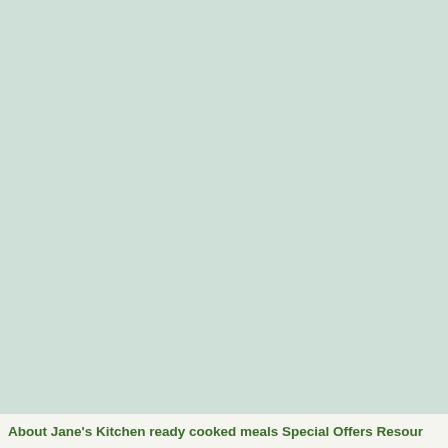[Figure (illustration): Large mint/sage green background area filling most of the page]
About Jane's Kitchen ready cooked meals Special Offers Resour